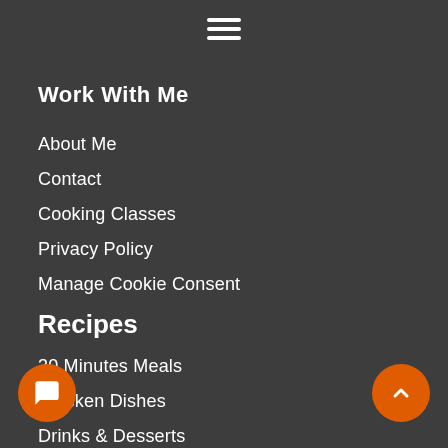[Figure (other): Hamburger menu icon (three horizontal white lines)]
Work With Me
About Me
Contact
Cooking Classes
Privacy Policy
Manage Cookie Consent
Recipes
30 Minutes Meals
Chicken Dishes
Drinks & Desserts
Fish Dishes
Homemade Spice Blends
30
Meat Dishes
Dishes